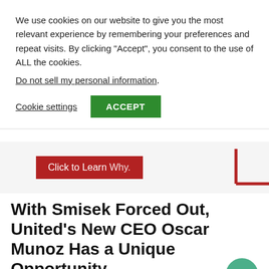We use cookies on our website to give you the most relevant experience by remembering your preferences and repeat visits. By clicking “Accept”, you consent to the use of ALL the cookies.
Do not sell my personal information.
Cookie settings
ACCEPT
[Figure (screenshot): Red advertisement banner with text 'Click to Learn Why.' and a red L-shaped graphic element on the right]
With Smisek Forced Out, United’s New CEO Oscar Munoz Has a Unique Opportunity
CF on Sep 10, 2015 - 85 Comments
United